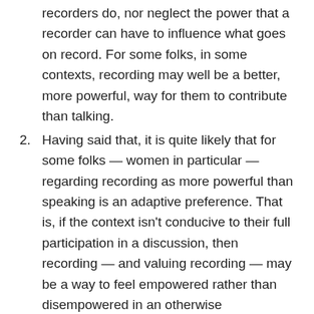recorders do, nor neglect the power that a recorder can have to influence what goes on record. For some folks, in some contexts, recording may well be a better, more powerful, way for them to contribute than talking.
2. Having said that, it is quite likely that for some folks — women in particular — regarding recording as more powerful than speaking is an adaptive preference. That is, if the context isn't conducive to their full participation in a discussion, then recording — and valuing recording — may be a way to feel empowered rather than disempowered in an otherwise disempowering situation.
3. The aptness of the above advice varies by context and purpose. Junior folks can learn a lot from senior folks if the former record what the latter are saying, and in some contexts